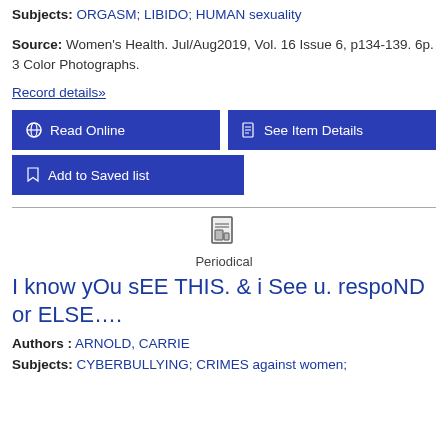Subjects: ORGASM; LIBIDO; HUMAN sexuality
Source: Women's Health. Jul/Aug2019, Vol. 16 Issue 6, p134-139. 6p. 3 Color Photographs.
Record details»
Read Online
See Item Details
Add to Saved list
Periodical
I know yOu sEE THIS. & i See u. respoND or ELSE….
Authors : ARNOLD, CARRIE
Subjects: CYBERBULLYING; CRIMES against women;